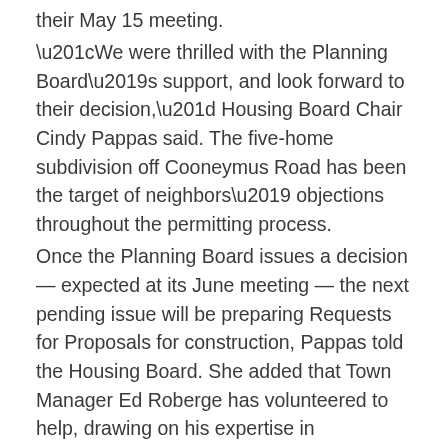their May 15 meeting. “We were thrilled with the Planning Board’s support, and look forward to their decision,” Housing Board Chair Cindy Pappas said. The five-home subdivision off Cooneymus Road has been the target of neighbors’ objections throughout the permitting process. Once the Planning Board issues a decision — expected at its June meeting — the next pending issue will be preparing Requests for Proposals for construction, Pappas told the Housing Board. She added that Town Manager Ed Roberge has volunteered to help, drawing on his expertise in developing RFPs. An infrastructure RFP comes first, and will include the access road, drainage and septic systems, wells, water lines and other underground utilities. “We know the road standards,” Pappas continued, referring to engineering protocols for the right of way that will serve the new homes and provide a throughway to abutting